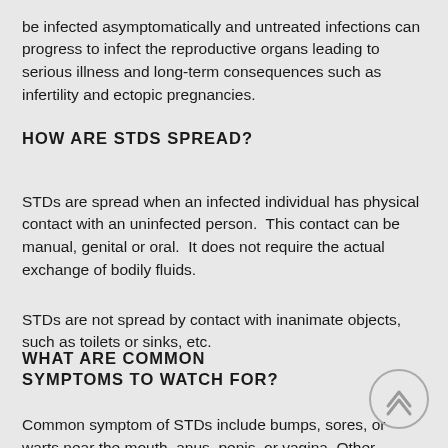be infected asymptomatically and untreated infections can progress to infect the reproductive organs leading to serious illness and long-term consequences such as infertility and ectopic pregnancies.
HOW ARE STDS SPREAD?
STDs are spread when an infected individual has physical contact with an uninfected person.  This contact can be manual, genital or oral.  It does not require the actual exchange of bodily fluids.
STDs are not spread by contact with inanimate objects, such as toilets or sinks, etc.
WHAT ARE COMMON SYMPTOMS TO WATCH FOR?
Common symptom of STDs include bumps, sores, or warts near the mouth, anus, penis, or vagina. Other symptoms can